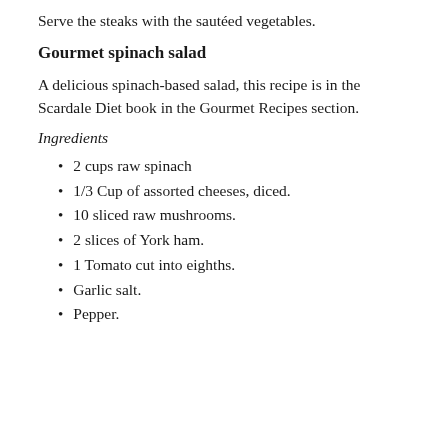Serve the steaks with the sautéed vegetables.
Gourmet spinach salad
A delicious spinach-based salad, this recipe is in the Scardale Diet book in the Gourmet Recipes section.
Ingredients
2 cups raw spinach
1/3 Cup of assorted cheeses, diced.
10 sliced raw mushrooms.
2 slices of York ham.
1 Tomato cut into eighths.
Garlic salt.
Pepper.